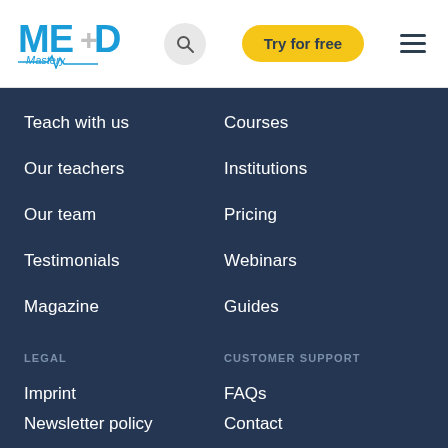[Figure (logo): MED Mastery logo with blue text and medical cross symbol]
Teach with us
Courses
Our teachers
Institutions
Our team
Pricing
Testimonials
Webinars
Magazine
Guides
LEGAL
CUSTOMER SUPPORT
Imprint
FAQs
Newsletter policy
Contact